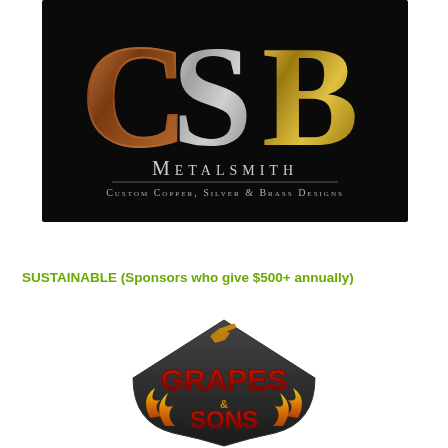[Figure (logo): CSB Metalsmith logo — large stylized letters C, S, B in copper, silver, and gold on black background, with 'METALSMITH' in white small-caps and 'Custom Copper, Silver & Brass Designs' below]
SUSTAINABLE (Sponsors who give $500+ annually)
[Figure (logo): Grapes & Sons logo — stylized text 'Grapes & Sons' in red with flame details on a dark spade/diamond shield shape with an excavator silhouette at top]